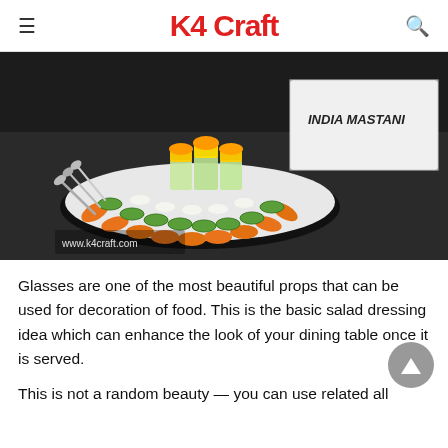K4 Craft
[Figure (photo): A decorative salad platter arranged with sliced cucumbers, carrots, radishes, and glasses filled with a layered mango/orange dessert, displayed on a dark surface next to a white card reading 'INDIA MASTANI'. Spoons visible on the left. Website watermark: www.k4craft.com]
Glasses are one of the most beautiful props that can be used for decoration of food. This is the basic salad dressing idea which can enhance the look of your dining table once it is served.
This is not a random beauty — you can use related all